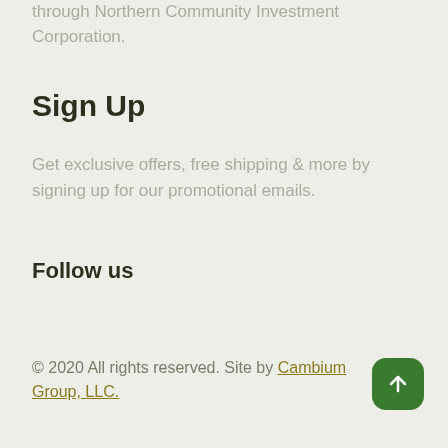through Northern Community Investment Corporation.
Sign Up
Get exclusive offers, free shipping & more by signing up for our promotional emails.
Follow us
© 2020 All rights reserved. Site by Cambium Group, LLC.